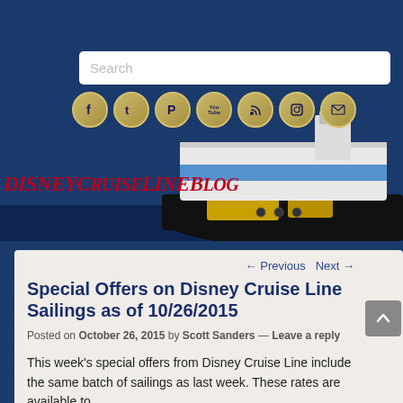Disney Cruise Line Blog navigation header with hamburger menu
[Figure (screenshot): Website header showing Disney Cruise Line Blog with search bar, social media icons (Facebook, Twitter, Pinterest, YouTube, RSS, Instagram, Email), cruise ship banner image, and red italic blog logo text 'DISNEYCRUISELINEBLOG']
← Previous   Next →
Special Offers on Disney Cruise Line Sailings as of 10/26/2015
Posted on October 26, 2015 by Scott Sanders — Leave a reply
This week's special offers from Disney Cruise Line include the same batch of sailings as last week. These rates are available to book through Sunday, November 1, 2015.